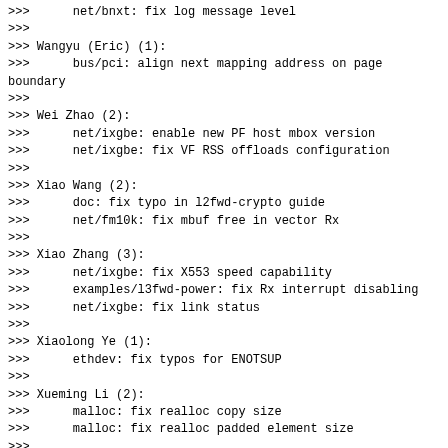>>>      net/bnxt: fix log message level
>>>
>>> Wangyu (Eric) (1):
>>>      bus/pci: align next mapping address on page boundary
>>>
>>> Wei Zhao (2):
>>>      net/ixgbe: enable new PF host mbox version
>>>      net/ixgbe: fix VF RSS offloads configuration
>>>
>>> Xiao Wang (2):
>>>      doc: fix typo in l2fwd-crypto guide
>>>      net/fm10k: fix mbuf free in vector Rx
>>>
>>> Xiao Zhang (3):
>>>      net/ixgbe: fix X553 speed capability
>>>      examples/l3fwd-power: fix Rx interrupt disabling
>>>      net/ixgbe: fix link status
>>>
>>> Xiaolong Ye (1):
>>>      ethdev: fix typos for ENOTSUP
>>>
>>> Xueming Li (2):
>>>      malloc: fix realloc copy size
>>>      malloc: fix realloc padded element size
>>>
>>> Yong Wang (1):
>>>      net/ixgbe: remove redundant assignment
>>>